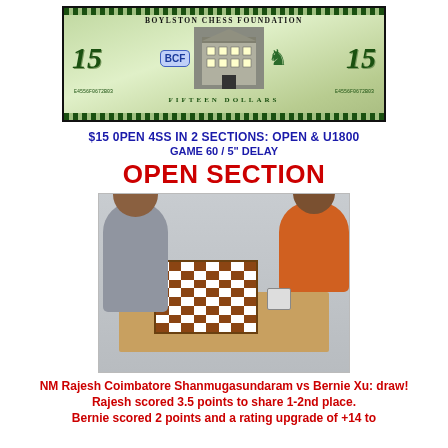[Figure (illustration): A decorative $15 bill styled banknote for Boylston Chess Foundation, showing a building in the center, shield logo on the left, chess piece on the right, serial numbers, and ornate border]
$15 0PEN 4SS IN 2 SECTIONS: OPEN & U1800
GAME 60 / 5" DELAY
OPEN SECTION
[Figure (photo): Two chess players at a board: an older teenager/young adult on the left in a grey hoodie, and a young boy in an orange hoodie on the right, mid-game at a wooden chess board]
NM Rajesh Coimbatore Shanmugasundaram vs Bernie Xu: draw!
Rajesh scored 3.5 points to share 1-2nd place.
Bernie scored 2 points and a rating upgrade of +14 to 1334.